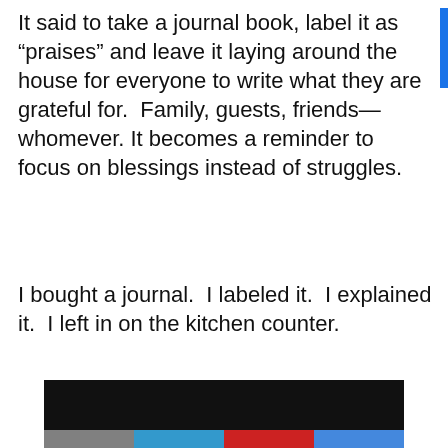It said to take a journal book, label it as “praises” and leave it laying around the house for everyone to write what they are grateful for.  Family, guests, friends—whomever. It becomes a reminder to focus on blessings instead of struggles.
I bought a journal.  I labeled it.  I explained it.  I left in on the kitchen counter.
[Figure (screenshot): A dark/black rectangle with a row of colored bars (gray, blue, red, light blue) beneath it, resembling a video player or media thumbnail at the bottom of the page.]